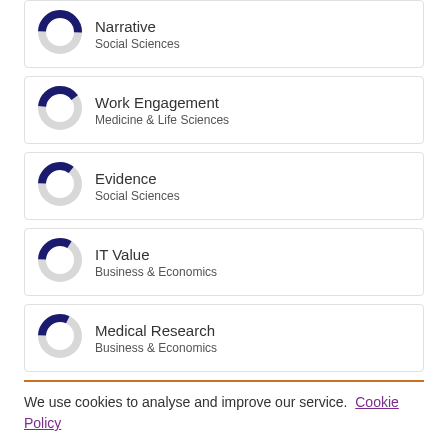Narrative | Social Sciences
Work Engagement | Medicine & Life Sciences
Evidence | Social Sciences
IT Value | Business & Economics
Medical Research | Business & Economics
We use cookies to analyse and improve our service. Cookie Policy